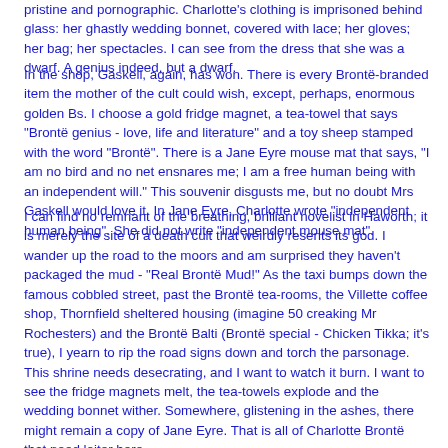pristine and pornographic. Charlotte's clothing is imprisoned behind glass: her ghastly wedding bonnet, covered with lace; her gloves; her bag; her spectacles. I can see from the dress that she was a dwarf. A genius indeed, but a dwarf.
In the shop, Gaskell, again, has won. There is every Brontë-branded item the mother of the cult could wish, except, perhaps, enormous golden Bs. I choose a gold fridge magnet, a tea-towel that says "Brontë genius - love, life and literature" and a toy sheep stamped with the word "Brontë". There is a Jane Eyre mouse mat that says, "I am no bird and no net ensnares me; I am a free human being with an independent will." This souvenir disgusts me, but no doubt Mrs Gaskell would love it. In Jane Eyre, Charlotte wrote "independent human being". She did not write "independent mouse mat".
I can find no remnant of the breathing, brilliant novelist in Haworth; it is merely the site of a death cult that weirdly resents its god. I wander up the road to the moors and am surprised they haven't packaged the mud - "Real Brontë Mud!" As the taxi bumps down the famous cobbled street, past the Brontë tea-rooms, the Villette coffee shop, Thornfield sheltered housing (imagine 50 creaking Mr Rochesters) and the Brontë Balti (Brontë special - Chicken Tikka; it's true), I yearn to rip the road signs down and torch the parsonage. This shrine needs desecrating, and I want to watch it burn. I want to see the fridge magnets melt, the tea-towels explode and the wedding bonnet wither. Somewhere, glistening in the ashes, there might remain a copy of Jane Eyre. That is all of Charlotte Brontë that need loiter here.